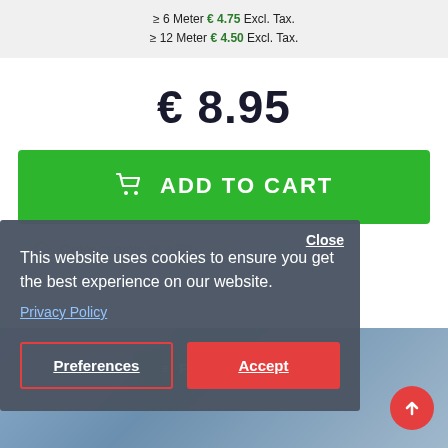≥ 6 Meter € 4.75 Excl. Tax.
≥ 12 Meter € 4.50 Excl. Tax.
€ 8.95
ADD TO CART
This website uses cookies to ensure you get the best experience on our website.
Privacy Policy
Preferences
Accept